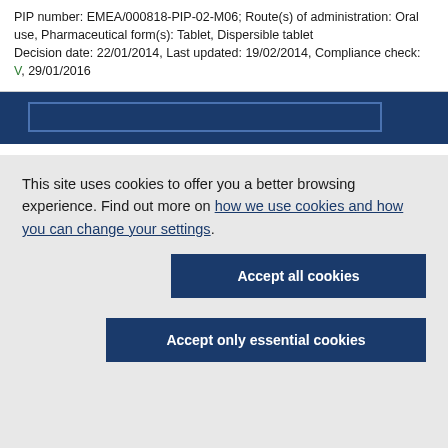PIP number: EMEA/000818-PIP-02-M06; Route(s) of administration: Oral use, Pharmaceutical form(s): Tablet, Dispersible tablet Decision date: 22/01/2014, Last updated: 19/02/2014, Compliance check: V, 29/01/2016
[Figure (screenshot): Dark blue navigation bar with search box outline]
This site uses cookies to offer you a better browsing experience. Find out more on how we use cookies and how you can change your settings.
Accept all cookies
Accept only essential cookies